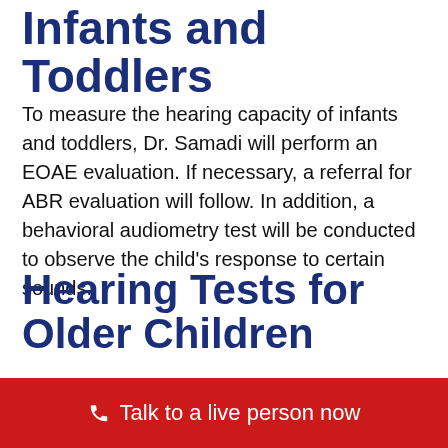Infants and Toddlers
To measure the hearing capacity of infants and toddlers, Dr. Samadi will perform an EOAE evaluation. If necessary, a referral for ABR evaluation will follow. In addition, a behavioral audiometry test will be conducted to observe the child's response to certain sounds.
Hearing Tests for Older Children
Children older than three wi
Talk to a live person now